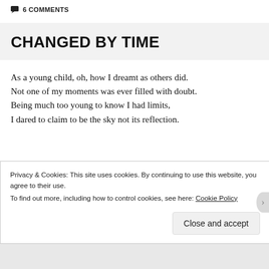6 COMMENTS
CHANGED BY TIME
As a young child, oh, how I dreamt as others did.
Not one of my moments was ever filled with doubt.
Being much too young to know I had limits,
I dared to claim to be the sky not its reflection.
Privacy & Cookies: This site uses cookies. By continuing to use this website, you agree to their use.
To find out more, including how to control cookies, see here: Cookie Policy
Close and accept